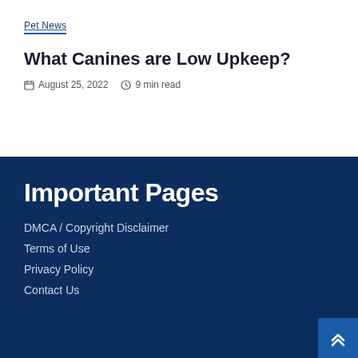Pet News
What Canines are Low Upkeep?
August 25, 2022   9 min read
Important Pages
DMCA / Copyright Disclaimer
Terms of Use
Privacy Policy
Contact Us